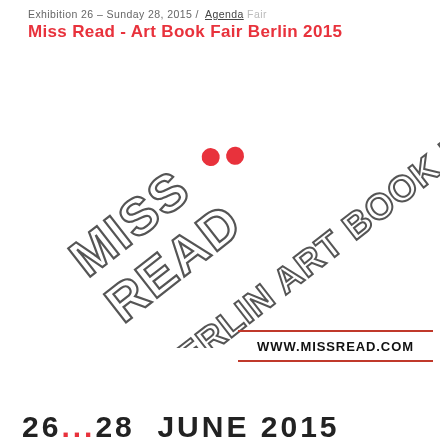Exhibition 26 – Sunday 28, 2015 / Agenda Fair
Miss Read - Art Book Fair Berlin 2015
[Figure (logo): Miss Read - The Berlin Art Book Fair logo rotated diagonally, with outlined block letters and two red dots accent marks]
www.missread.com
26...28  JUNE 2015